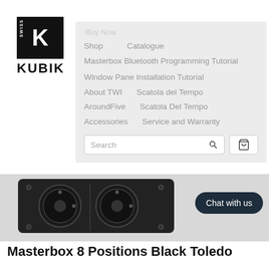[Figure (logo): Swiss Kubik logo: black square with white K letter and SWISS text vertically on left side, KUBIK text below]
Buy Now  Shop  Catalogue
Masterbox Bluetooth Programming Tutorial
Window Pane Installation Tutorial
About TWI  Scatola del Tempo
AroundFive  Scatola Del Tempo
Accessories  Service and Warranty
[Figure (screenshot): Search input box with search icon and cart icon button]
[Figure (photo): Masterbox 8 position black watch winder product image, partial view showing dark device with circular watch holders]
[Figure (other): Chat with us button, dark navy rounded pill shape]
Masterbox 8 Positions Black Toledo